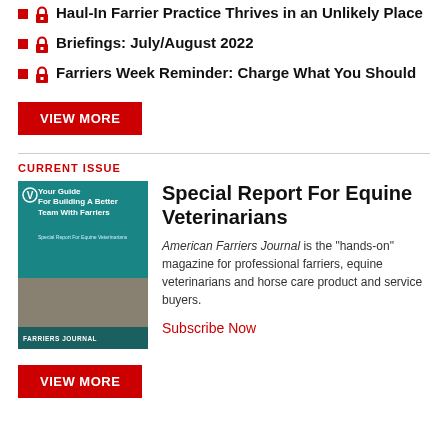Haul-In Farrier Practice Thrives in an Unlikely Place
Briefings: July/August 2022
Farriers Week Reminder: Charge What You Should
VIEW MORE
CURRENT ISSUE
[Figure (photo): Magazine cover: Your Guide For Building A Better Team With Farriers — Special Report For Equine Veterinarians, American Farriers Journal]
Special Report For Equine Veterinarians
American Farriers Journal is the "hands-on" magazine for professional farriers, equine veterinarians and horse care product and service buyers.
Subscribe Now
VIEW MORE